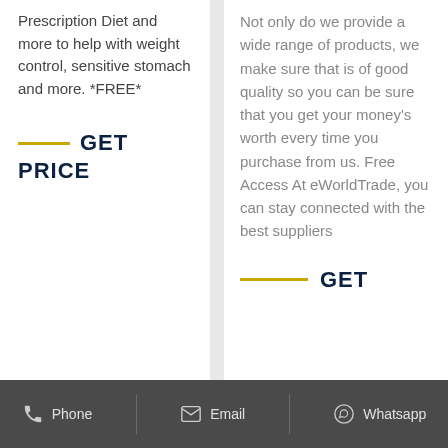Prescription Diet and more to help with weight control, sensitive stomach and more. *FREE*
GET PRICE
Not only do we provide a wide range of products, we make sure that is of good quality so you can be sure that you get your money's worth every time you purchase from us. Free Access At eWorldTrade, you can stay connected with the best suppliers
GET
Phone   Email   Whatsapp